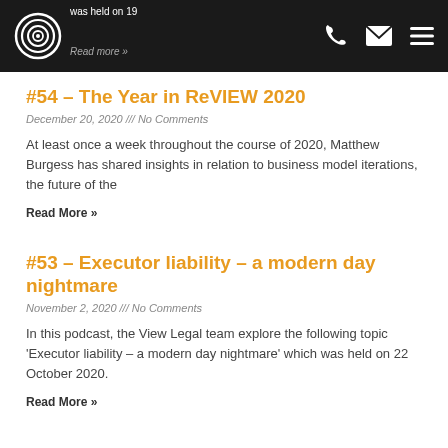was held on 19 … Read more »
#54 – The Year in ReVIEW 2020
December 20, 2020 /// No Comments
At least once a week throughout the course of 2020, Matthew Burgess has shared insights in relation to business model iterations, the future of the
Read More »
#53 – Executor liability – a modern day nightmare
November 2, 2020 /// No Comments
In this podcast, the View Legal team explore the following topic 'Executor liability – a modern day nightmare' which was held on 22 October 2020.
Read More »